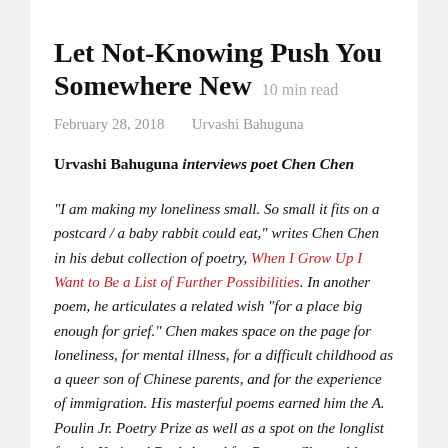Let Not-Knowing Push You Somewhere New  10 min read
February 28, 2018    Urvashi Bahuguna
Urvashi Bahuguna interviews poet Chen Chen
“I am making my loneliness small. So small it fits on a postcard / a baby rabbit could eat,” writes Chen Chen in his debut collection of poetry, When I Grow Up I Want to Be a List of Further Possibilities. In another poem, he articulates a related wish “for a place big enough for grief.” Chen makes space on the page for loneliness, for mental illness, for a difficult childhood as a queer son of Chinese parents, and for the experience of immigration. His masterful poems earned him the A. Poulin Jr. Poetry Prize as well as a spot on the longlist for the National Book Award for Poetry. Chen told me